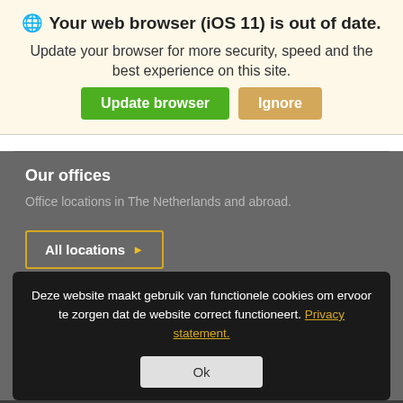🌐 Your web browser (iOS 11) is out of date.
Update your browser for more security, speed and the best experience on this site.
Update browser | Ignore
Our offices
Office locations in The Netherlands and abroad.
All locations ▶
Deze website maakt gebruik van functionele cookies om ervoor te zorgen dat de website correct functioneert. Privacy statement.
Ok
Contact us